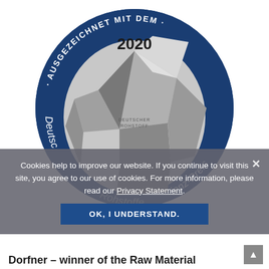[Figure (logo): Circular award badge with dark blue background. Text along the top arc reads 'AUSGEZEICHNET MIT DEM' in white uppercase letters. Left side reads 'Deutsche' and right side reads 'ienz-Preis' (partially visible) in white italic text. Center shows '2020' in bold dark text. A geometric sculptural award trophy (silver/gray multifaceted polyhedron shape) is shown in the center with 'DEUTSCHER ROHSTOFF' embossed on it. The full award name is 'Deutscher Rohstoffizienz-Preis'.]
Cookies help to improve our website. If you continue to visit this site, you agree to our use of cookies. For more information, please read our Privacy Statement.
OK, I UNDERSTAND.
Dorfner – winner of the Raw Material